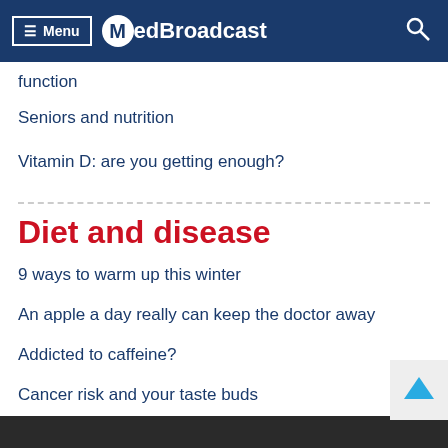Menu MedBroadcast
function
Seniors and nutrition
Vitamin D: are you getting enough?
Diet and disease
9 ways to warm up this winter
An apple a day really can keep the doctor away
Addicted to caffeine?
Cancer risk and your taste buds